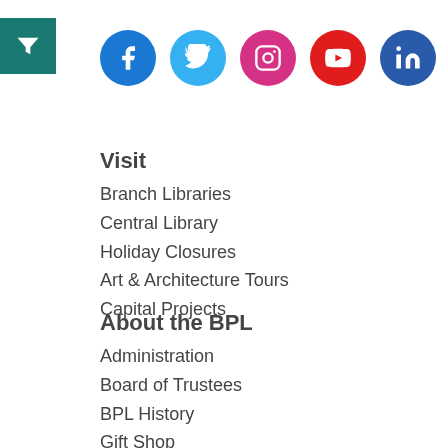[Figure (other): Teal filter/funnel icon button in top left corner]
[Figure (other): Row of social media icon circles: Facebook (blue), Twitter (light blue), Instagram (pink/magenta), YouTube (red), LinkedIn (dark blue), Email/Newsletter (teal)]
Visit
Branch Libraries
Central Library
Holiday Closures
Art & Architecture Tours
Capital Projects
About the BPL
Administration
Board of Trustees
BPL History
Gift Shop
Jobs at the BPL
News
Subscribe to Our Newsletter
Support the BPL
Contact Us